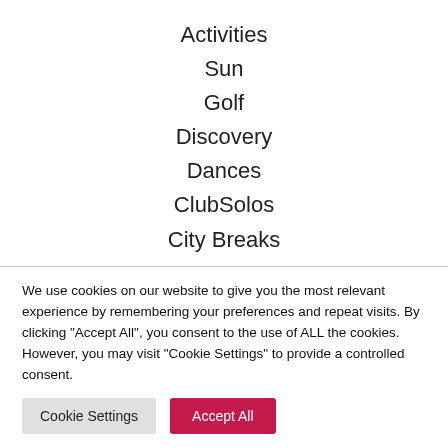Activities
Sun
Golf
Discovery
Dances
ClubSolos
City Breaks
[Figure (logo): Solos travel brand logo — white text 'solos' on a dark red/crimson rounded rectangle background]
We use cookies on our website to give you the most relevant experience by remembering your preferences and repeat visits. By clicking "Accept All", you consent to the use of ALL the cookies. However, you may visit "Cookie Settings" to provide a controlled consent.
Cookie Settings
Accept All